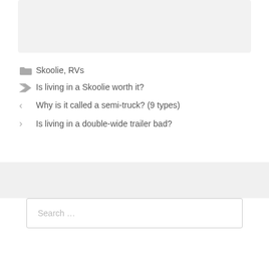[Figure (other): Gray placeholder box at top of page]
Skoolie, RVs
Is living in a Skoolie worth it?
Why is it called a semi-truck? (9 types)
Is living in a double-wide trailer bad?
Search ...